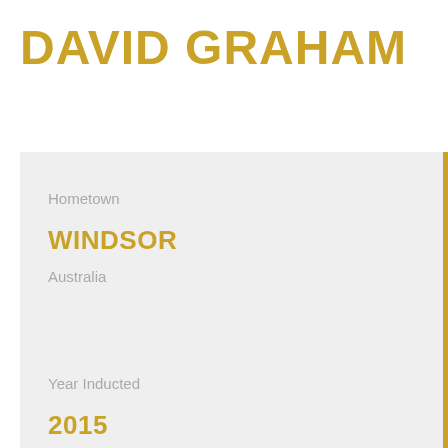DAVID GRAHAM
Hometown
WINDSOR
Australia
Year Inducted
2015